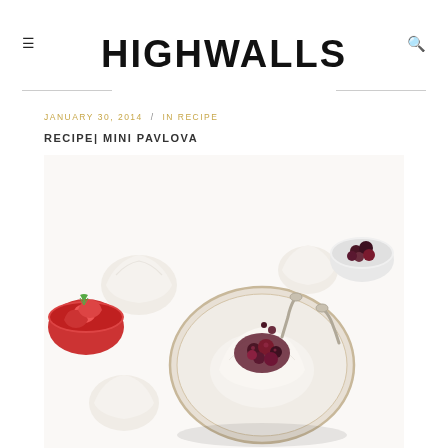HIGHWALLS
JANUARY 30, 2014  /  IN RECIPE
RECIPE| MINI PAVLOVA
[Figure (photo): Overhead photo of mini pavlova desserts on a white surface. A decorative plate in the center holds a meringue topped with berry compote. Surrounding it are additional meringues, a red bowl of strawberries, a white bowl with berries, and silver spoons.]